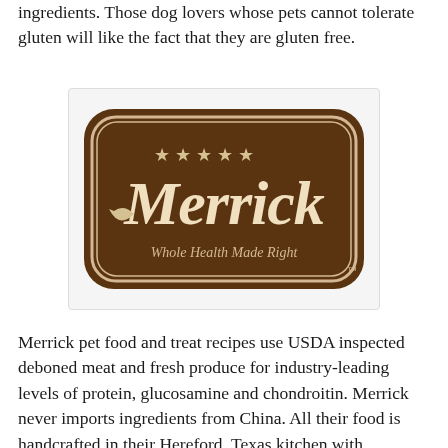ingredients.  Those dog lovers whose pets cannot tolerate gluten will like the fact that they are gluten free.
[Figure (logo): Merrick brand logo — dark brown badge shape with cream/off-white text reading 'Merrick' in large script with five stars above, and 'Whole Health Made Right' in smaller script below. TM mark at bottom right.]
Merrick pet food and treat recipes use USDA inspected deboned meat and fresh produce for industry-leading levels of protein, glucosamine and chondroitin.  Merrick never imports ingredients from China.  All their food is handcrafted in their Hereford, Texas kitchen with ingredients from farmers they know and trust. In 2012 Merrick earned organic certification under the USDA National Organic Program for all of their Texas based manufacturing facilities.